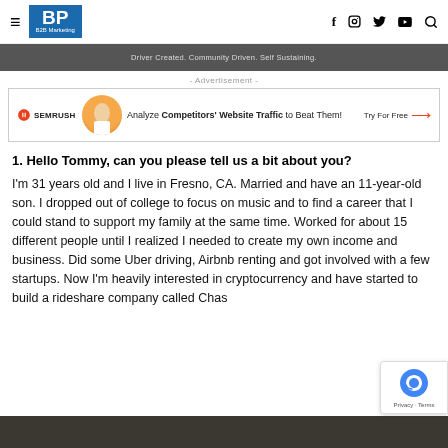BP B2B Marketing
[Figure (photo): Dark hero image strip with text: Driver Created. Community Driven. Self Sustaining.]
- Advertisement -
[Figure (infographic): SEMrush advertisement: Analyze Competitors' Website Traffic to Beat Them! Try For Free]
1. Hello Tommy, can you please tell us a bit about you?
I'm 31 years old and I live in Fresno, CA. Married and have an 11-year-old son. I dropped out of college to focus on music and to find a career that I could stand to support my family at the same time. Worked for about 15 different people until I realized I needed to create my own income and business. Did some Uber driving, Airbnb renting and got involved with a few startups. Now I'm heavily interested in cryptocurrency and have started to build a rideshare company called Chas
[Figure (photo): Bottom portion of a person photo, dark background]